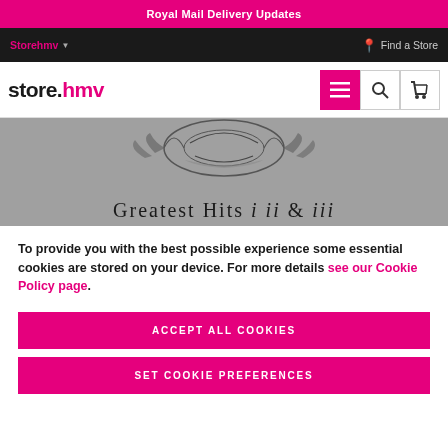Royal Mail Delivery Updates
Storehmv  Find a Store
[Figure (logo): store.hmv logo with menu, search, and cart icons]
[Figure (photo): Album cover for Greatest Hits I II & III on grey background with decorative crest]
To provide you with the best possible experience some essential cookies are stored on your device. For more details see our Cookie Policy page.
ACCEPT ALL COOKIES
SET COOKIE PREFERENCES